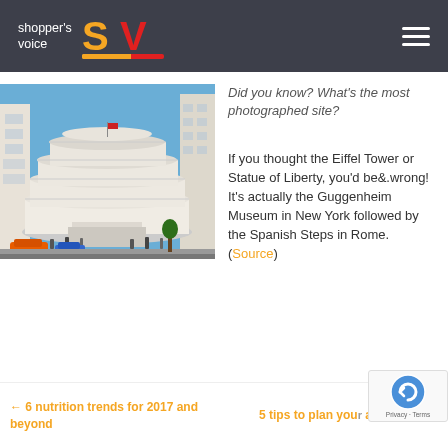shopper's voice
[Figure (photo): Photograph of the Guggenheim Museum in New York, a round white spiral building with cars and people in front, and other buildings visible in background]
Did you know? What's the most photographed site?
If you thought the Eiffel Tower or Statue of Liberty, you'd be&.wrong! It's actually the Guggenheim Museum in New York followed by the Spanish Steps in Rome. (Source)
← 6 nutrition trends for 2017 and beyond     5 tips to plan your adventure →